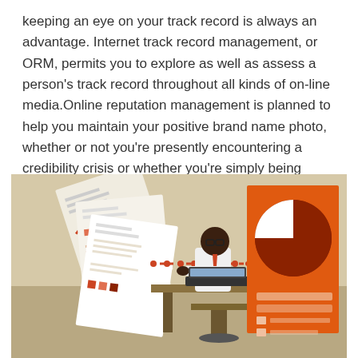keeping an eye on your track record is always an advantage. Internet track record management, or ORM, permits you to explore as well as assess a person's track record throughout all kinds of on-line media.Online reputation management is planned to help you maintain your positive brand name photo, whether or not you're presently encountering a credibility crisis or whether you're simply being proactive concerning safeguarding your on-line identification.
[Figure (illustration): Flat-style illustration of a person sitting at a desk working on a laptop, with documents/charts floating to the left and a large orange panel on the right showing a pie chart and legend bars. A dotted line connects the documents through the person to the pie chart panel. Background is beige/tan.]